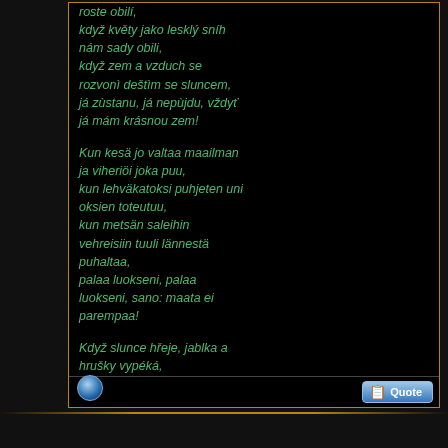roste obilí, když květy jako lesklý sníh nám sady obili, když zem a vzduch se rozvonì deštìm se sluncem, já zùstanu, já nepùjdu, vždyť já mám krásnou zem!
Kun kesä jo valtaa maailman ja viheriöi joka puu, kun lehväkatoksi puhjeten uni oksien toteutuu, kun metsän saleihin vehreisiin tuuli lännestä puhaltaa, palaa luokseni, palaa luokseni, sano: maata ei parempaa!
Když slunce hřeje, jablka a hrušky vypéká, když sláma zlatne, bělá klas a žeň už nečeká, když kane med a zraje plod a hnědne ořeši, já na slunci tu zůstanu, má zem je nejlepší!